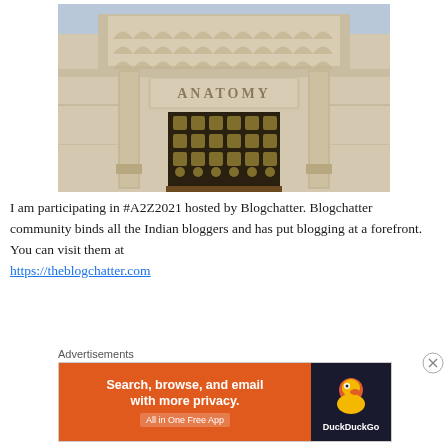[Figure (photo): Photograph of a classical stone building entrance with the word ANATOMY carved above the doorway. The entrance features ornate decorative ironwork gates, classical columns, and an elaborate arched window with fan-like pattern at the top.]
I am participating in #A2Z2021 hosted by Blogchatter. Blogchatter community binds all the Indian bloggers and has put blogging at a forefront. You can visit them at https://theblogchatter.com
Advertisements
[Figure (screenshot): DuckDuckGo advertisement banner. Orange left section with text: Search, browse, and email with more privacy. All in One Free App. Dark right section with DuckDuckGo duck logo and brand name.]